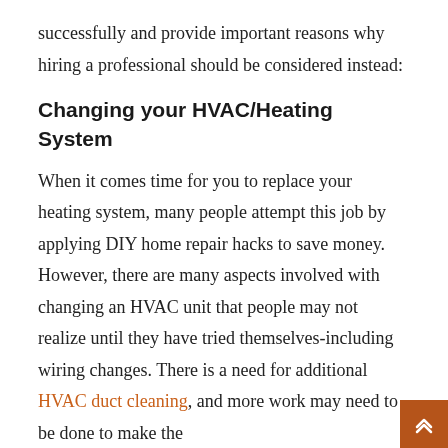successfully and provide important reasons why hiring a professional should be considered instead:
Changing your HVAC/Heating System
When it comes time for you to replace your heating system, many people attempt this job by applying DIY home repair hacks to save money. However, there are many aspects involved with changing an HVAC unit that people may not realize until they have tried themselves-including wiring changes. There is a need for additional HVAC duct cleaning, and more work may need to be done to make the